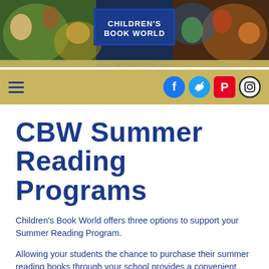[Figure (illustration): Children's Book World website banner with illustrated children's book characters and animals on a dark background, with a blue box in the center reading 'CHILDREN'S BOOK WORLD']
Navigation bar with hamburger menu and social media icons (Facebook, Twitter, Pinterest, Instagram) on a golden/tan background
CBW Summer Reading Programs
Children's Book World offers three options to support your Summer Reading Program.
Allowing your students the chance to purchase their summer reading books through your school provides a convenient service for all of your school families. You decide whether you want to offer families discounted prices, or if